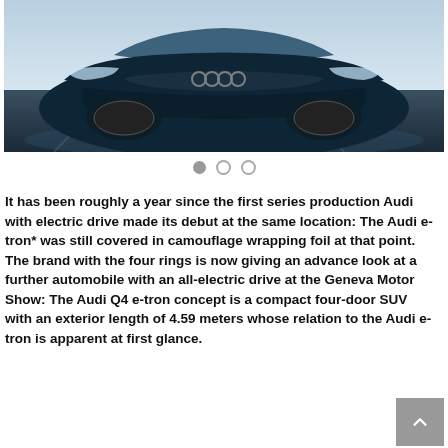[Figure (photo): Front view of an Audi Q4 e-tron concept car in dark teal color on a reflective studio surface with a blue-grey gradient background.]
It has been roughly a year since the first series production Audi with electric drive made its debut at the same location: The Audi e-tron* was still covered in camouflage wrapping foil at that point. The brand with the four rings is now giving an advance look at a further automobile with an all-electric drive at the Geneva Motor Show: The Audi Q4 e-tron concept is a compact four-door SUV with an exterior length of 4.59 meters whose relation to the Audi e-tron is apparent at first glance.